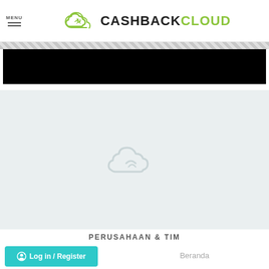MENU | CASHBACKCLOUD
[Figure (screenshot): Black banner with diagonal stripe above it]
[Figure (logo): CashbackCloud cloud logo watermark in light gray on light background]
PERUSAHAAN & TIM
Log in / Register
Beranda